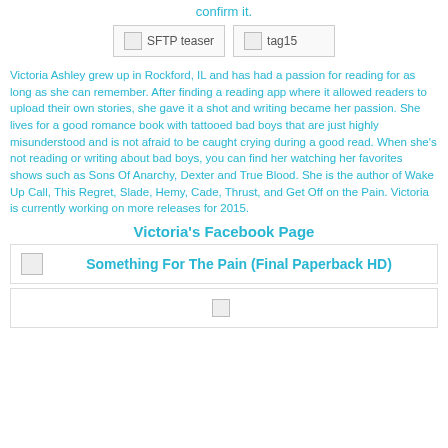confirm it.
[Figure (other): Two broken image placeholders labeled 'SFTP teaser' and 'tag15']
Victoria Ashley grew up in Rockford, IL and has had a passion for reading for as long as she can remember. After finding a reading app where it allowed readers to upload their own stories, she gave it a shot and writing became her passion. She lives for a good romance book with tattooed bad boys that are just highly misunderstood and is not afraid to be caught crying during a good read. When she's not reading or writing about bad boys, you can find her watching her favorites shows such as Sons Of Anarchy, Dexter and True Blood. She is the author of Wake Up Call, This Regret, Slade, Hemy, Cade, Thrust, and Get Off on the Pain. Victoria is currently working on more releases for 2015.
Victoria's Facebook Page
[Figure (other): Broken image and bold text: Something For The Pain (Final Paperback HD)]
[Figure (other): Partial broken image at bottom strip]